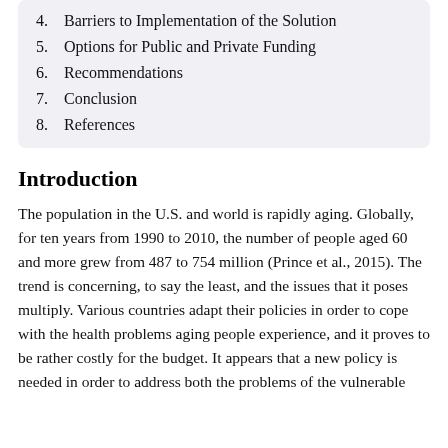4. Barriers to Implementation of the Solution
5. Options for Public and Private Funding
6. Recommendations
7. Conclusion
8. References
Introduction
The population in the U.S. and world is rapidly aging. Globally, for ten years from 1990 to 2010, the number of people aged 60 and more grew from 487 to 754 million (Prince et al., 2015). The trend is concerning, to say the least, and the issues that it poses multiply. Various countries adapt their policies in order to cope with the health problems aging people experience, and it proves to be rather costly for the budget. It appears that a new policy is needed in order to address both the problems of the vulnerable